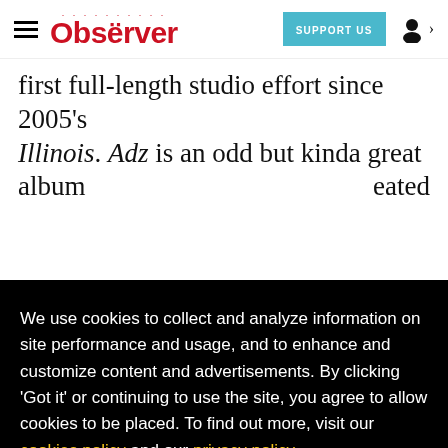Observer — SUPPORT US — [user icon]
first full-length studio effort since 2005's Illinois. Adz is an odd but kinda great album
We use cookies to collect and analyze information on site performance and usage, and to enhance and customize content and advertisements. By clicking 'Got it' or continuing to use the site, you agree to allow cookies to be placed. To find out more, visit our cookies policy and our privacy policy.
Got it!
original and esoteric concept has actually